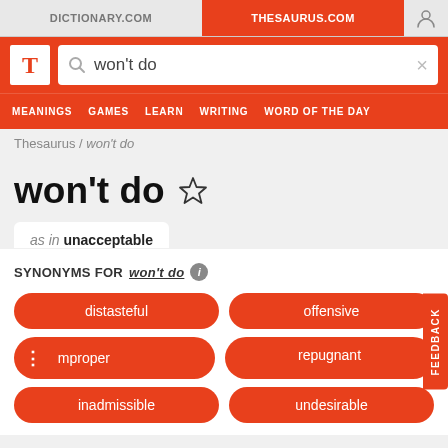DICTIONARY.COM | THESAURUS.COM
[Figure (screenshot): Thesaurus.com website header with logo and search bar showing 'won't do']
Thesaurus / won't do
won't do
as in unacceptable
SYNONYMS FOR won't do
distasteful
offensive
improper
repugnant
inadmissible
undesirable